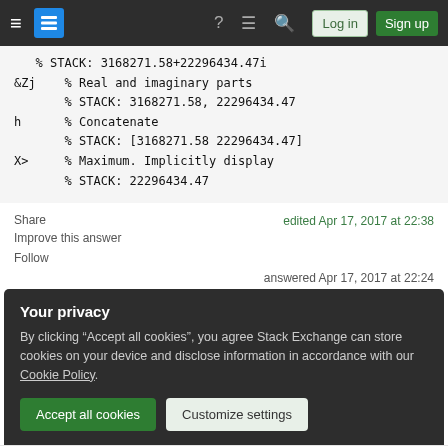Stack Exchange navigation bar with Log in and Sign up buttons
% STACK: 3168271.58+22296434.47i
&Zj     % Real and imaginary parts
        % STACK: 3168271.58, 22296434.47
h       % Concatenate
        % STACK: [3168271.58 22296434.47]
X>      % Maximum. Implicitly display
        % STACK: 22296434.47
Share
edited Apr 17, 2017 at 22:38
Improve this answer
Follow
answered Apr 17, 2017 at 22:24
Your privacy
By clicking "Accept all cookies", you agree Stack Exchange can store cookies on your device and disclose information in accordance with our Cookie Policy.
Accept all cookies
Customize settings
2  Saved a byte thanks to @Conor O'Brien